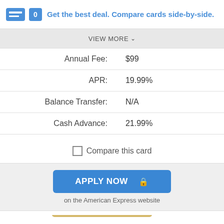Get the best deal. Compare cards side-by-side.
VIEW MORE
|  |  |
| --- | --- |
| Annual Fee: | $99 |
| APR: | 19.99% |
| Balance Transfer: | N/A |
| Cash Advance: | 21.99% |
Compare this card
APPLY NOW  on the American Express website
[Figure (photo): Two American Express gold credit cards stacked, partially visible at bottom of page]